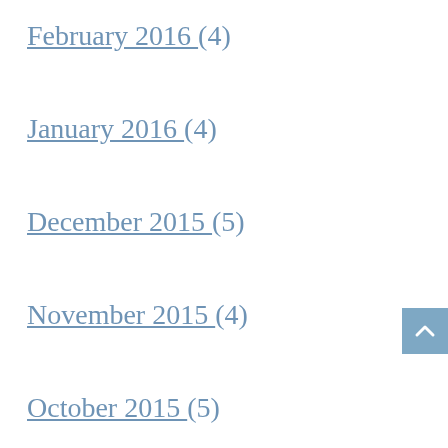February 2016 (4)
January 2016 (4)
December 2015 (5)
November 2015 (4)
October 2015 (5)
September 2015 (4)
August 2015 (4)
July 2015 (5)
June 2015 (4)
May 2015 (4)
April 2015 (5)